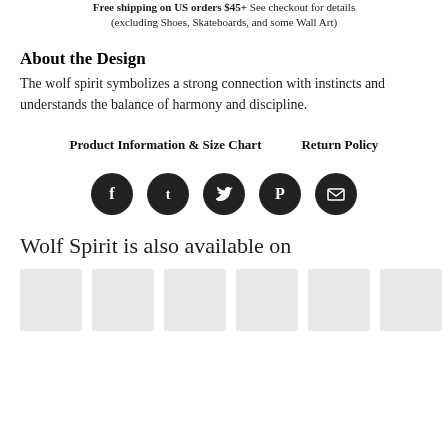Free shipping on US orders $45+ See checkout for details (excluding Shoes, Skateboards, and some Wall Art)
About the Design
The wolf spirit symbolizes a strong connection with instincts and understands the balance of harmony and discipline.
Product Information & Size Chart    Return Policy
[Figure (infographic): Row of five social media icon buttons (Facebook, Tumblr, Twitter, Pinterest, Email) as dark filled circles with white icons]
Wolf Spirit is also available on
[Figure (infographic): Row of six small light gray product thumbnail placeholder images]